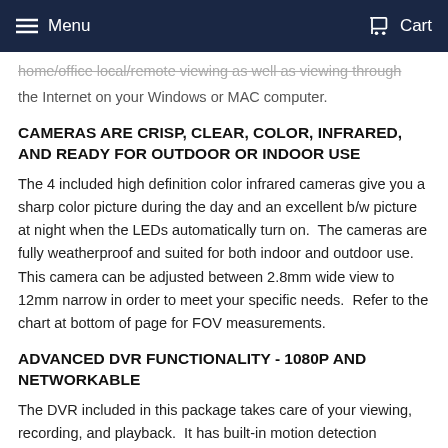Menu   Cart
home/office local/remote viewing as well as viewing through the Internet on your Windows or MAC computer.
CAMERAS ARE CRISP, CLEAR, COLOR, INFRARED, AND READY FOR OUTDOOR OR INDOOR USE
The 4 included high definition color infrared cameras give you a sharp color picture during the day and an excellent b/w picture at night when the LEDs automatically turn on.  The cameras are fully weatherproof and suited for both indoor and outdoor use. This camera can be adjusted between 2.8mm wide view to 12mm narrow in order to meet your specific needs.  Refer to the chart at bottom of page for FOV measurements.
ADVANCED DVR FUNCTIONALITY - 1080P AND NETWORKABLE
The DVR included in this package takes care of your viewing, recording, and playback.  It has built-in motion detection recording to minimize wasted recording.  All of the recording and playback is handled through the DVR.  Recordings are